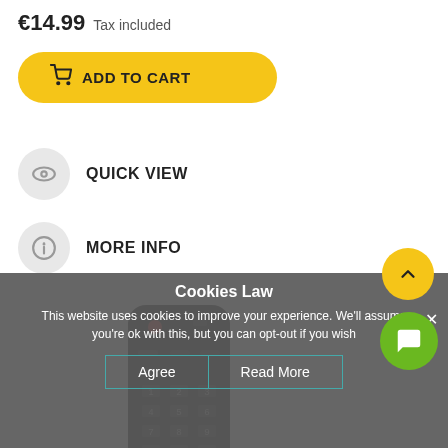€14.99 Tax included
ADD TO CART
QUICK VIEW
MORE INFO
[Figure (photo): Black TV remote control partially visible]
Cookies Law
This website uses cookies to improve your experience. We'll assume you're ok with this, but you can opt-out if you wish
Agree  Read More